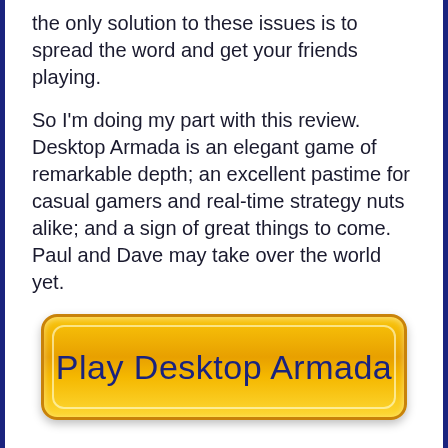the only solution to these issues is to spread the word and get your friends playing.

So I'm doing my part with this review. Desktop Armada is an elegant game of remarkable depth; an excellent pastime for casual gamers and real-time strategy nuts alike; and a sign of great things to come. Paul and Dave may take over the world yet.
[Figure (other): A large orange gradient button with rounded corners labeled 'Play Desktop Armada' in dark navy text]